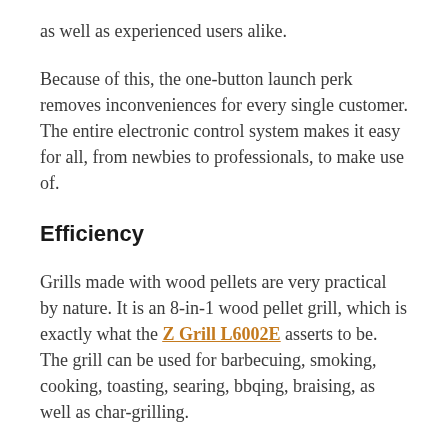as well as experienced users alike.
Because of this, the one-button launch perk removes inconveniences for every single customer. The entire electronic control system makes it easy for all, from newbies to professionals, to make use of.
Efficiency
Grills made with wood pellets are very practical by nature. It is an 8-in-1 wood pellet grill, which is exactly what the Z Grill L6002E asserts to be. The grill can be used for barbecuing, smoking, cooking, toasting, searing, bbqing, braising, as well as char-grilling.
This is best for food like salmon or trout that